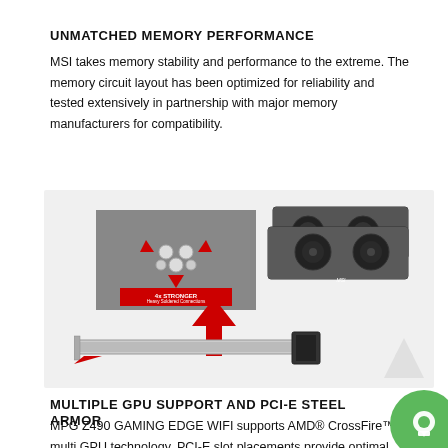UNMATCHED MEMORY PERFORMANCE
MSI takes memory stability and performance to the extreme. The memory circuit layout has been optimized for reliability and tested extensively in partnership with major memory manufacturers for compatibility.
[Figure (photo): Product image showing: left — a close-up of heavy soldered connections on a PCB with red arrows and text '4x STRONGER Heavy Soldered Connections'; right — two MSI graphics cards stacked; bottom — an MSI PCIe Steel Armor slot with red arrows indicating insertion direction.]
MULTIPLE GPU SUPPORT AND PCI-E STEEL ARMOR
MPG Z490 GAMING EDGE WIFI supports AMD® CrossFire™ multi GPU technology. PCI-E slot placements provide optimal airflow for graphics card